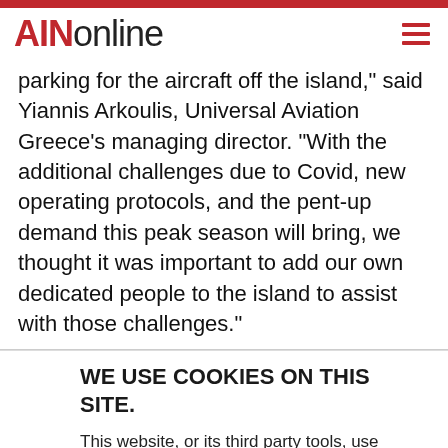AINonline
parking for the aircraft off the island," said Yiannis Arkoulis, Universal Aviation Greece's managing director. "With the additional challenges due to Covid, new operating protocols, and the pent-up demand this peak season will bring, we thought it was important to add our own dedicated people to the island to assist with those challenges."
WE USE COOKIES ON THIS SITE.
This website, or its third party tools, use cookies to enhance your browsing experience. By using this site you agree to this use of cookies. Learn More
ACCEPT